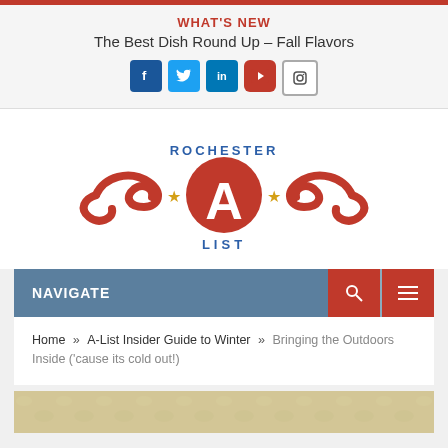WHAT'S NEW
The Best Dish Round Up – Fall Flavors
[Figure (logo): Rochester A-List logo: red ornamental design with large A in circle, two gold stars, and 'ROCHESTER' above 'LIST' in blue text]
NAVIGATE
Home » A-List Insider Guide to Winter » Bringing the Outdoors Inside ('cause its cold out!)
[Figure (photo): Partial view of a sandy or stone textured surface at the bottom of the page]